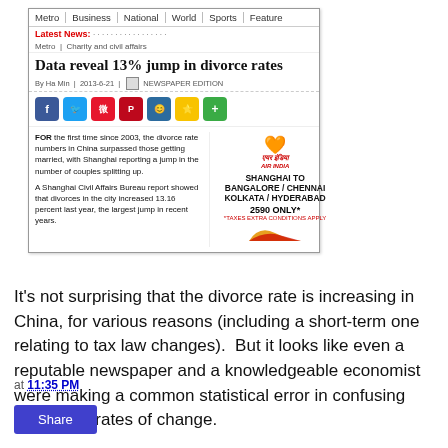[Figure (screenshot): Screenshot of an online newspaper article. Navigation bar shows: Metro | Business | National | World | Sports | Feature. Red 'Latest News:' label with ticker text. Breadcrumb: Metro | Charity and civil affairs. Headline: 'Data reveal 13% jump in divorce rates'. Byline: By Ha Min | 2013-6-21 | NEWSPAPER EDITION. Social sharing icons row (Facebook, Twitter, Weibo, Pinterest, QQ, Star, Plus). Article text in two columns alongside an Air India advertisement for Shanghai to Bangalore/Chennai/Kolkata/Hyderabad for 2590 only*.]
It's not surprising that the divorce rate is increasing in China, for various reasons (including a short-term one relating to tax law changes).  But it looks like even a reputable newspaper and a knowledgeable economist were making a common statistical error in confusing levels and rates of change.
at 11:35 PM
Share